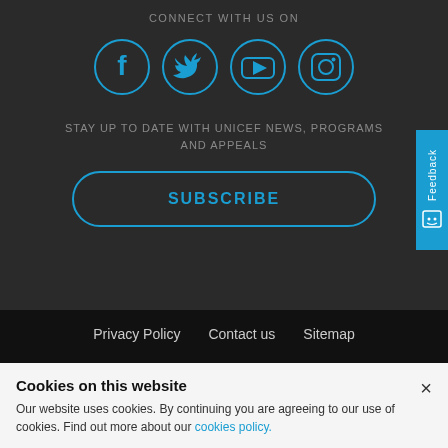CONNECT WITH US ON
[Figure (illustration): Four circular social media icons: Facebook, Twitter, YouTube, Instagram — outlined in blue on dark background]
STAY UP TO DATE WITH UNICEF NEWS, PROGRAMS AND APPEALS
SUBSCRIBE
Feedback
Privacy Policy   Contact us   Sitemap
PO Box 488,
Queen Victoria Building, NSW 1230
Cookies on this website
Our website uses cookies. By continuing you are agreeing to our use of cookies. Find out more about our cookies policy.